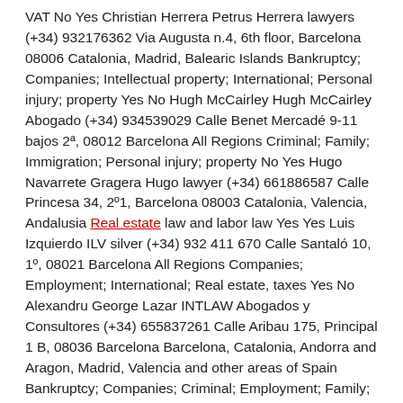VAT No Yes Christian Herrera Petrus Herrera lawyers (+34) 932176362 Via Augusta n.4, 6th floor, Barcelona 08006 Catalonia, Madrid, Balearic Islands Bankruptcy; Companies; Intellectual property; International; Personal injury; property Yes No Hugh McCairley Hugh McCairley Abogado (+34) 934539029 Calle Benet Mercadé 9-11 bajos 2ª, 08012 Barcelona All Regions Criminal; Family; Immigration; Personal injury; property No Yes Hugo Navarrete Gragera Hugo lawyer (+34) 661886587 Calle Princesa 34, 2º1, Barcelona 08003 Catalonia, Valencia, Andalusia Real estate law and labor law Yes Yes Luis Izquierdo ILV silver (+34) 932 411 670 Calle Santaló 10, 1º, 08021 Barcelona All Regions Companies; Employment; International; Real estate, taxes Yes No Alexandru George Lazar INTLAW Abogados y Consultores (+34) 655837261 Calle Aribau 175, Principal 1 B, 08036 Barcelona Barcelona, â€‹â€‹Catalonia, Andorra and Aragon, Madrid, Valencia and other areas of Spain Bankruptcy; Companies; Criminal; Employment; Family; Health; Immigration; Intellectual property; International; Personal injury; Property; VAT No Yes Anna Kleytsova Kley & Vera international law firm (+34) 931 760